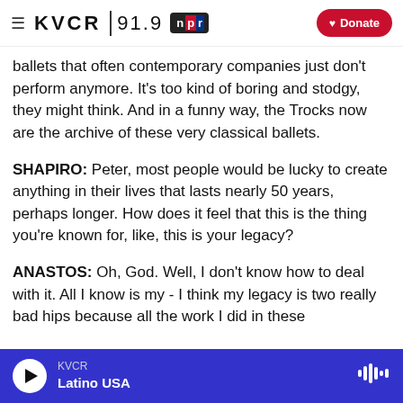≡ KVCR 91.9 npr ♥ Donate
ballets that often contemporary companies just don't perform anymore. It's too kind of boring and stodgy, they might think. And in a funny way, the Trocks now are the archive of these very classical ballets.
SHAPIRO: Peter, most people would be lucky to create anything in their lives that lasts nearly 50 years, perhaps longer. How does it feel that this is the thing you're known for, like, this is your legacy?
ANASTOS: Oh, God. Well, I don't know how to deal with it. All I know is my - I think my legacy is two really bad hips because all the work I did in these
KVCR  Latino USA